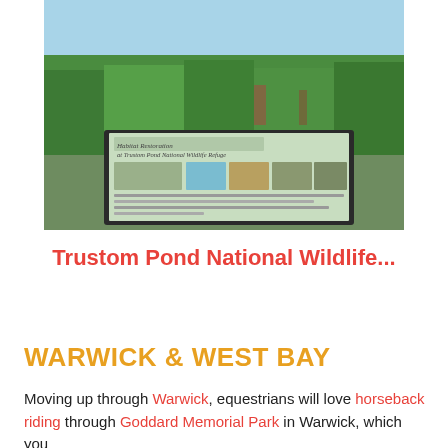[Figure (photo): Outdoor photograph showing a green marsh/field with tall vegetation under a blue sky, and a interpretive sign/kiosk in the foreground. The sign reads 'Habitat Restoration at Trustom Pond National Wildlife Refuge' with text and thumbnail images.]
Trustom Pond National Wildlife...
WARWICK & WEST BAY
Moving up through Warwick, equestrians will love horseback riding through Goddard Memorial Park in Warwick, which you